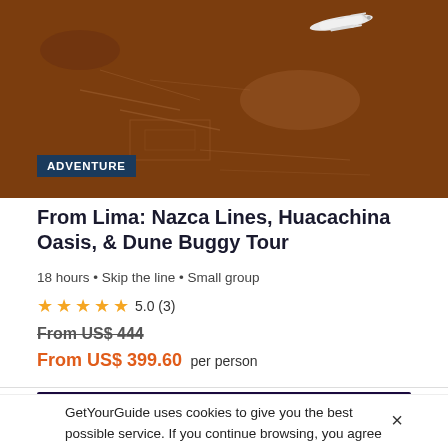[Figure (photo): Aerial view of Nazca Lines desert landscape from above, with a small propeller airplane visible at top right]
ADVENTURE
From Lima: Nazca Lines, Huacachina Oasis, & Dune Buggy Tour
18 hours • Skip the line • Small group
★★★★★ 5.0 (3)
From US$ 444
From US$ 399.60 per person
[Figure (photo): Night aerial view of Huacachina Oasis with lights reflecting on water, GetYourGuide logo badge at left]
GetYourGuide uses cookies to give you the best possible service. If you continue browsing, you agree to the use of cookies. More details can be found in our privacy policy.